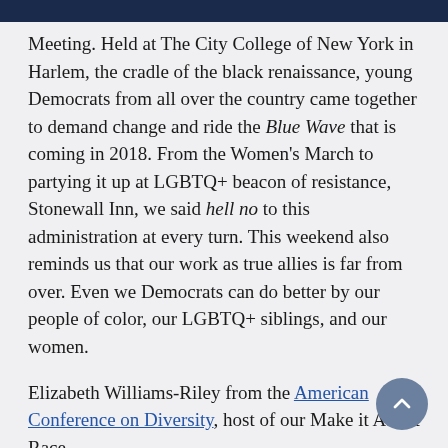Meeting. Held at The City College of New York in Harlem, the cradle of the black renaissance, young Democrats from all over the country came together to demand change and ride the Blue Wave that is coming in 2018. From the Women's March to partying it up at LGBTQ+ beacon of resistance, Stonewall Inn, we said hell no to this administration at every turn. This weekend also reminds us that our work as true allies is far from over. Even we Democrats can do better by our people of color, our LGBTQ+ siblings, and our women.
Elizabeth Williams-Riley from the American Conference on Diversity, host of our Make it About Race